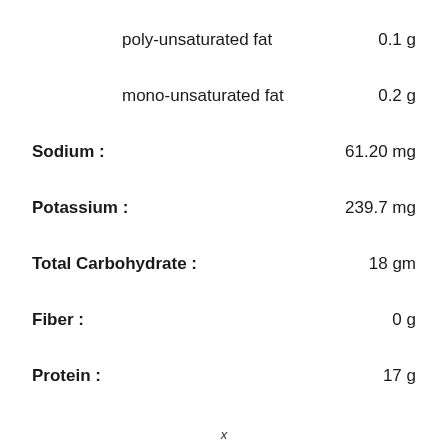poly-unsaturated fat    0.1 g
mono-unsaturated fat    0.2 g
Sodium :    61.20 mg
Potassium :    239.7 mg
Total Carbohydrate :    18 gm
Fiber :    0 g
Protein :    17 g